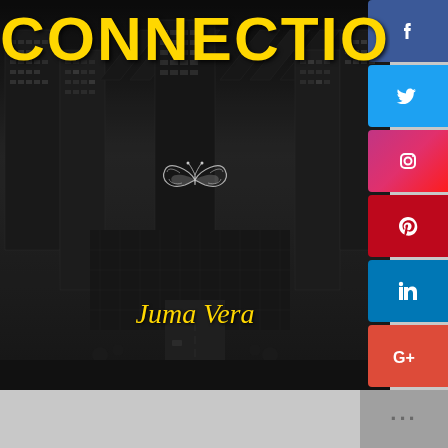[Figure (illustration): Book cover image: aerial view of city skyline in black and white with tall skyscrapers. Title 'CONNECTION' in large yellow bold text at top. Decorative butterfly ornament in center. Author name 'Juma Vera' in yellow italic text near bottom. Social media icons (Facebook, Twitter, Instagram, Pinterest, LinkedIn, Google+) on the right sidebar.]
CONNECTION
Juma Vera